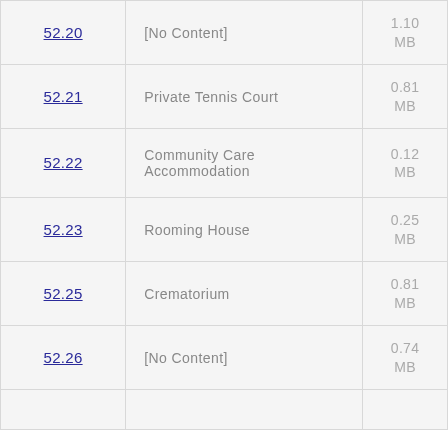| Code | Name | Size |
| --- | --- | --- |
| 52.20 | [No Content] | 1.10 MB |
| 52.21 | Private Tennis Court | 0.81 MB |
| 52.22 | Community Care Accommodation | 0.12 MB |
| 52.23 | Rooming House | 0.25 MB |
| 52.25 | Crematorium | 0.81 MB |
| 52.26 | [No Content] | 0.74 MB |
| 52.27 |  |  |